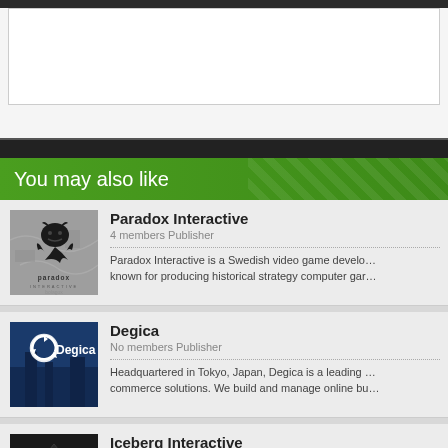You may also like
Paradox Interactive
4 members Publisher
Paradox Interactive is a Swedish video game develo… known for producing historical strategy computer gar…
Degica
No members Publisher
Headquartered in Tokyo, Japan, Degica is a leading … commerce solutions. We build and manage online bu…
Iceberg Interactive
6 members Publisher